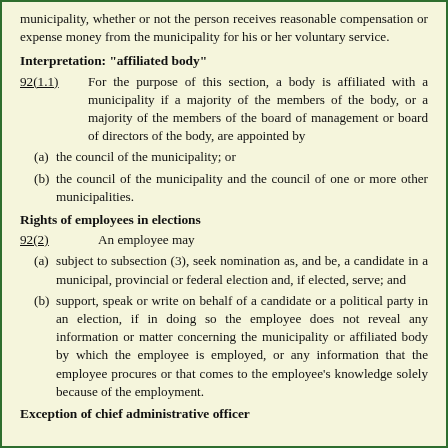municipality, whether or not the person receives reasonable compensation or expense money from the municipality for his or her voluntary service.
Interpretation: "affiliated body"
92(1.1)  For the purpose of this section, a body is affiliated with a municipality if a majority of the members of the body, or a majority of the members of the board of management or board of directors of the body, are appointed by
(a) the council of the municipality; or
(b) the council of the municipality and the council of one or more other municipalities.
Rights of employees in elections
92(2)  An employee may
(a) subject to subsection (3), seek nomination as, and be, a candidate in a municipal, provincial or federal election and, if elected, serve; and
(b) support, speak or write on behalf of a candidate or a political party in an election, if in doing so the employee does not reveal any information or matter concerning the municipality or affiliated body by which the employee is employed, or any information that the employee procures or that comes to the employee's knowledge solely because of the employment.
Exception of chief administrative officer